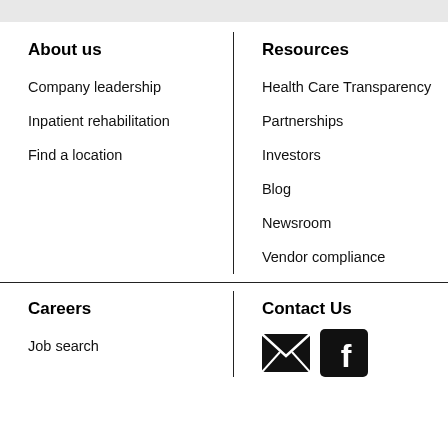About us
Company leadership
Inpatient rehabilitation
Find a location
Resources
Health Care Transparency
Partnerships
Investors
Blog
Newsroom
Vendor compliance
Careers
Job search
Contact Us
[Figure (infographic): Email envelope icon and Facebook icon]